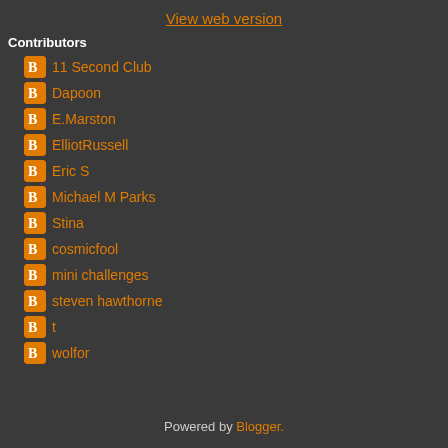View web version
Contributors
11 Second Club
Dapoon
E.Marston
ElliotRussell
Eric S
Michael M Parks
Stina
cosmicfool
mini challenges
steven hawthorne
t
wolfor
Powered by Blogger.